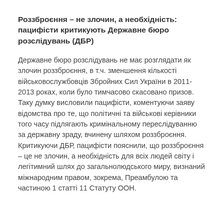Роззброєння – не злочин, а необхідність: пацифісти критикують Державне бюро розслідувань (ДБР)
Державне бюро розслідувань не має розглядати як злочин роззброєння, в т.ч. зменшення кількості військовослужбовців Збройних Сил України в 2011-2013 роках, коли було тимчасово скасовано призов. Таку думку висловили пацифісти, коментуючи заяву відомства про те, що політичні та військові керівники того часу підлягають кримінальному переслідуванню за державну зраду, вчинену шляхом роззброєння. Критикуючи ДБР, пацифісти пояснили, що роззброєння – це не злочин, а необхідність для всіх людей світу і легітимний шлях до загальнолюдського миру, визнаний міжнародним правом, зокрема, Преамбулою та частиною 1 статті 11 Статуту ООН.